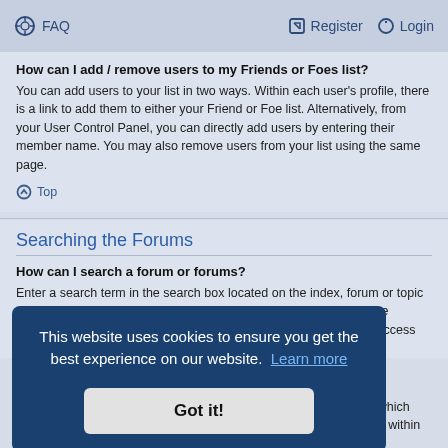FAQ  Register  Login
How can I add / remove users to my Friends or Foes list?
You can add users to your list in two ways. Within each user's profile, there is a link to add them to either your Friend or Foe list. Alternatively, from your User Control Panel, you can directly add users by entering their member name. You may also remove users from your list using the same page.
Top
Searching the Forums
How can I search a forum or forums?
Enter a search term in the search box located on the index, forum or topic pages. Advanced search can be accessed by clicking the “Advance Search” link which is available on all pages on the forum. How to access the search may
[Figure (screenshot): Cookie consent overlay with dark blue background. Text reads: 'This website uses cookies to ensure you get the best experience on our website. Learn more' followed by a 'Got it!' button.]
s which ble within
Top